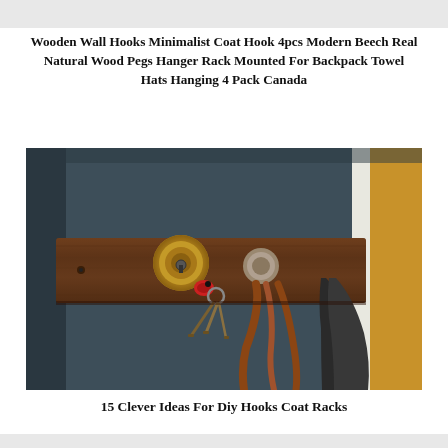Wooden Wall Hooks Minimalist Coat Hook 4pcs Modern Beech Real Natural Wood Pegs Hanger Rack Mounted For Backpack Towel Hats Hanging 4 Pack Canada
[Figure (photo): A wooden wall-mounted coat hook rack made of dark walnut wood, featuring a brass door lock cylinder used as a hook, a set of keys on a red keychain hanging from it, leather straps, and a dark jacket hanging on the right side. Background shows a dark blue-grey wall and a yellow door frame on the right.]
15 Clever Ideas For Diy Hooks Coat Racks